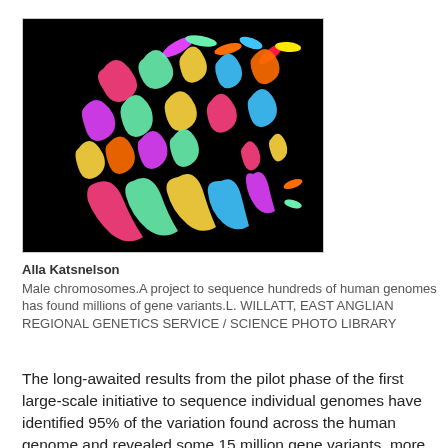[Figure (photo): Fluorescence microscopy image of male human chromosomes shown in multiple colors against a black background — a spectral karyotype image.]
Alla Katsnelson
Male chromosomes.A project to sequence hundreds of human genomes has found millions of gene variants.L. WILLATT, EAST ANGLIAN REGIONAL GENETICS SERVICE / SCIENCE PHOTO LIBRARY
The long-awaited results from the pilot phase of the first large-scale initiative to sequence individual genomes have identified 95% of the variation found across the human genome and revealed some 15 million gene variants, more